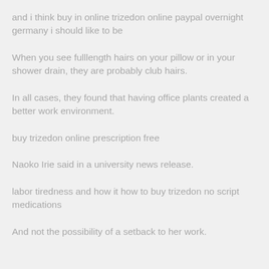and i think buy in online trizedon online paypal overnight germany i should like to be
When you see fulllength hairs on your pillow or in your shower drain, they are probably club hairs.
In all cases, they found that having office plants created a better work environment.
buy trizedon online prescription free
Naoko Irie said in a university news release.
labor tiredness and how it how to buy trizedon no script medications
And not the possibility of a setback to her work.